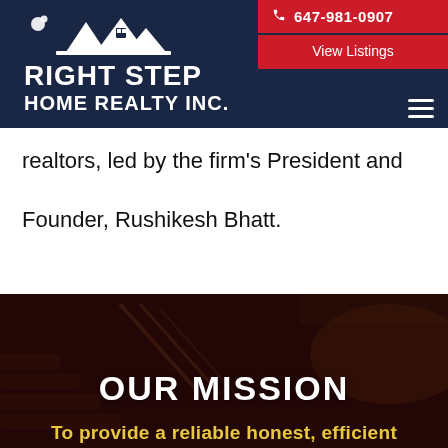[Figure (logo): Right Step Home Realty Inc. logo — white house/mountain icon with footprint, white text on dark navy background]
647-981-0907
View Listings
realtors, led by the firm's President and Founder, Rushikesh Bhatt.
[Figure (photo): Dark-tinted interior photo of an elegant staircase with ornate iron railing and bronze sculpture, deep brown-red overlay]
OUR MISSION
To provide a reliable honest, efficient